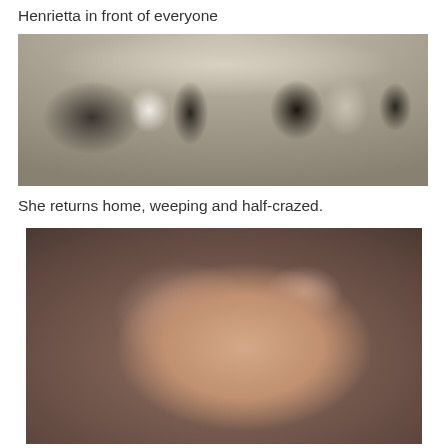Henrietta in front of everyone
[Figure (photo): Black and white still from a period film showing elegantly dressed people in a grand ballroom. A woman in a light gown walks forward escorted by a man in dark formal wear, with other guests in Regency-era costumes looking on.]
She returns home, weeping and half-crazed.
[Figure (photo): Color film still showing a red-haired woman in Regency-era clothing weeping dramatically, her fist raised to her mouth, face contorted in anguish, with her head tilted back.]